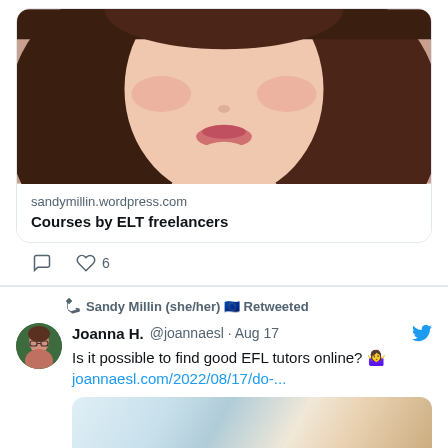[Figure (screenshot): Twitter/social media screenshot showing two tweets. First tweet has a link card with a woman's photo and link to sandymillin.wordpress.com 'Courses by ELT freelancers', with 6 likes. Second tweet is retweeted by Sandy Millin (she/her) from @joannaesl Joanna H. dated Aug 17, asking 'Is it possible to find good EFL tutors online?' with link joannaesl.com/2022/08/17/do-... and a preview image.]